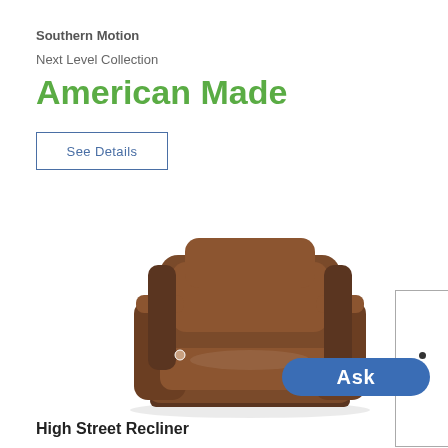Southern Motion
Next Level Collection
American Made
See Details
[Figure (photo): Brown leather power recliner chair (High Street Recliner) by Southern Motion, shown in upright position on white background]
Ask
High Street Recliner